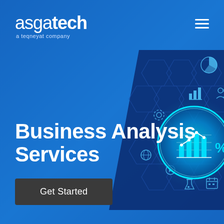[Figure (logo): Asgatech logo - 'asga' in light weight and 'tech' in bold white text, with tagline 'a teqneyat company' below]
[Figure (illustration): Dark blue hexagonal network background with a glowing teal magnifying glass lens containing bar chart and percentage icons, surrounded by business analytics icons including pie chart, bar chart, people, globe, gears, and science icons]
Business Analysis Services
Get Started